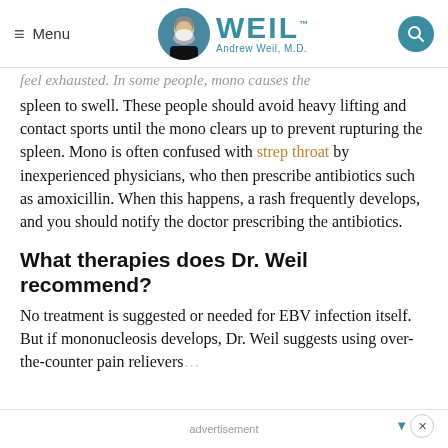Menu | WEIL™ Andrew Weil, M.D.
feel exhausted. In some people, mono causes the spleen to swell. These people should avoid heavy lifting and contact sports until the mono clears up to prevent rupturing the spleen. Mono is often confused with strep throat by inexperienced physicians, who then prescribe antibiotics such as amoxicillin. When this happens, a rash frequently develops, and you should notify the doctor prescribing the antibiotics.
What therapies does Dr. Weil recommend?
No treatment is suggested or needed for EBV infection itself. But if mononucleosis develops, Dr. Weil suggests using over-the-counter pain relievers…
advertisement